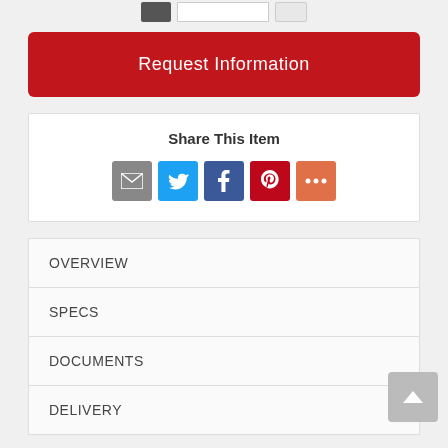[Figure (screenshot): Top bar with dark button, input field, and light button]
Request Information
Share This Item
[Figure (infographic): Social share icons: email (grey), Twitter (blue), Facebook (dark blue), Pinterest (dark red), More (orange)]
OVERVIEW
SPECS
DOCUMENTS
DELIVERY